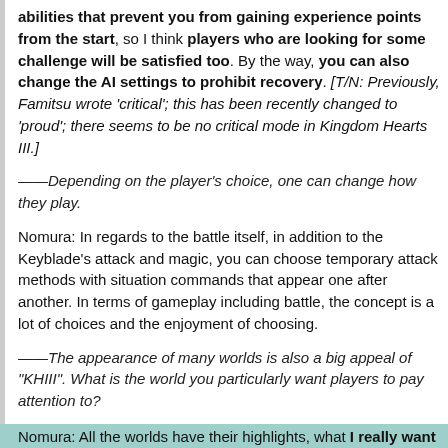abilities that prevent you from gaining experience points from the start, so I think players who are looking for some challenge will be satisfied too. By the way, you can also change the AI settings to prohibit recovery. [T/N: Previously, Famitsu wrote 'critical'; this has been recently changed to 'proud'; there seems to be no critical mode in Kingdom Hearts III.]
——Depending on the player's choice, one can change how they play.
Nomura: In regards to the battle itself, in addition to the Keyblade's attack and magic, you can choose temporary attack methods with situation commands that appear one after another. In terms of gameplay including battle, the concept is a lot of choices and the enjoyment of choosing.
——The appearance of many worlds is also a big appeal of "KHIII". What is the world you particularly want players to pay attention to?
Nomura: All the worlds have their highlights, what I really want you to enjoy the Caribbean ("Pirates of the Caribbean") where you can enjoy battles on land, sea, and air. You can enjoy the thrill of adventure by maneuvering the ship and exploring the Caribbean